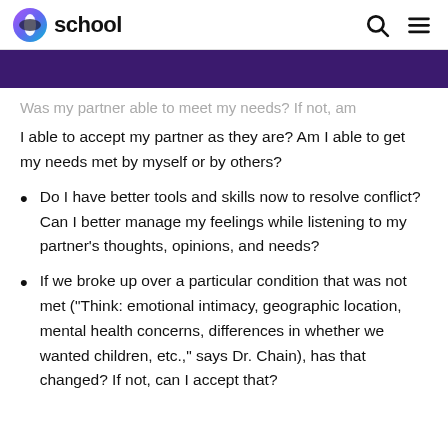school
Was my partner able to meet my needs? If not, am I able to accept my partner as they are? Am I able to get my needs met by myself or by others?
Do I have better tools and skills now to resolve conflict? Can I better manage my feelings while listening to my partner’s thoughts, opinions, and needs?
If we broke up over a particular condition that was not met (“Think: emotional intimacy, geographic location, mental health concerns, differences in whether we wanted children, etc.,” says Dr. Chain), has that changed? If not, can I accept that?